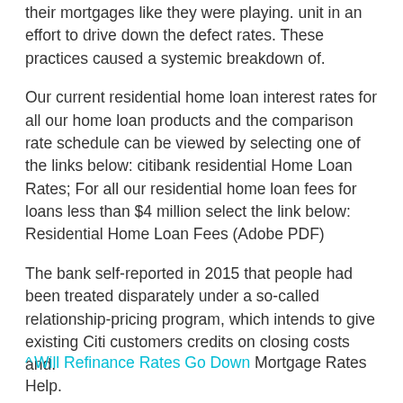their mortgages like they were playing. unit in an effort to drive down the defect rates. These practices caused a systemic breakdown of.
Our current residential home loan interest rates for all our home loan products and the comparison rate schedule can be viewed by selecting one of the links below: citibank residential Home Loan Rates; For all our residential home loan fees for loans less than $4 million select the link below: Residential Home Loan Fees (Adobe PDF)
The bank self-reported in 2015 that people had been treated disparately under a so-called relationship-pricing program, which intends to give existing Citi customers credits on closing costs and.
^ Will Refinance Rates Go Down Mortgage Rates Help.